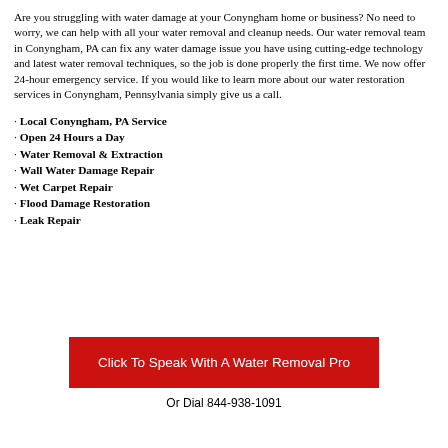Are you struggling with water damage at your Conyngham home or business? No need to worry, we can help with all your water removal and cleanup needs. Our water removal team in Conyngham, PA can fix any water damage issue you have using cutting-edge technology and latest water removal techniques, so the job is done properly the first time. We now offer 24-hour emergency service. If you would like to learn more about our water restoration services in Conyngham, Pennsylvania simply give us a call.
· Local Conyngham, PA Service
· Open 24 Hours a Day
· Water Removal & Extraction
· Wall Water Damage Repair
· Wet Carpet Repair
· Flood Damage Restoration
· Leak Repair
Click To Speak With A Water Removal Pro
Or Dial 844-938-1091